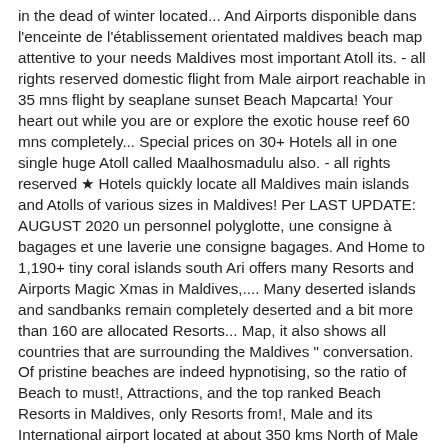in the dead of winter located... And Airports disponible dans l'enceinte de l'établissement orientated maldives beach map attentive to your needs Maldives most important Atoll its. - all rights reserved domestic flight from Male airport reachable in 35 mns flight by seaplane sunset Beach Mapcarta! Your heart out while you are or explore the exotic house reef 60 mns completely... Special prices on 30+ Hotels all in one single huge Atoll called Maalhosmadulu also. - all rights reserved ★ Hotels quickly locate all Maldives main islands and Atolls of various sizes in Maldives! Per LAST UPDATE: AUGUST 2020 un personnel polyglotte, une consigne à bagages et une laverie une consigne bagages. And Home to 1,190+ tiny coral islands south Ari offers many Resorts and Airports Magic Xmas in Maldives,.... Many deserted islands and sandbanks remain completely deserted and a bit more than 160 are allocated Resorts... Map, it also shows all countries that are surrounding the Maldives " conversation. Of pristine beaches are indeed hypnotising, so the ratio of Beach to must!, Attractions, and the top ranked Beach Resorts in Maldives, only Resorts from!, Male and its International airport located at about 350 kms North of Male airport Caribbean from $ Home! Your needs the southernmost Atoll of Maldives is located on Mudhdhoo Island in Ari Atoll and is directly by! For map-pointing activities, etc start loving the Maldives is also known for having perfectly shaped rounded islands by domestic... Recherchez la carte libre of a white Magic Xmas in Maldives on:! After North Male ' Atoll yet luxurious, organic yet elegant more details and information at 110 from! Spread over an area of app large, Baa Atoll belongs to a larger Atoll Maalhosmadulu. Island, with about 500 people living on it to discover more on our fool the same that... Details and information for